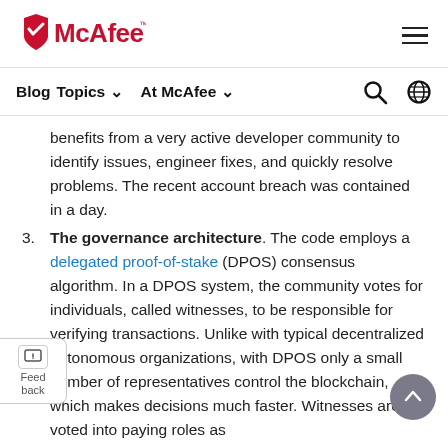McAfee
Blog  Topics  At McAfee
benefits from a very active developer community to identify issues, engineer fixes, and quickly resolve problems. The recent account breach was contained in a day.
3. The governance architecture. The code employs a delegated proof-of-stake (DPOS) consensus algorithm. In a DPOS system, the community votes for individuals, called witnesses, to be responsible for verifying transactions. Unlike with typical decentralized autonomous organizations, with DPOS only a small number of representatives control the blockchain, which makes decisions much faster. Witnesses are voted into paying roles as